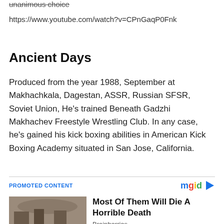unanimous choice
https://www.youtube.com/watch?v=CPnGaqP0Fnk
Ancient Days
Produced from the year 1988, September at Makhachkala, Dagestan, ASSR, Russian SFSR, Soviet Union, He’s trained Beneath Gadzhi Makhachev Freestyle Wrestling Club. In any case, he’s gained his kick boxing abilities in American Kick Boxing Academy situated in San Jose, California.
PROMOTED CONTENT
Most Of Them Will Die A Horrible Death
Brainberries